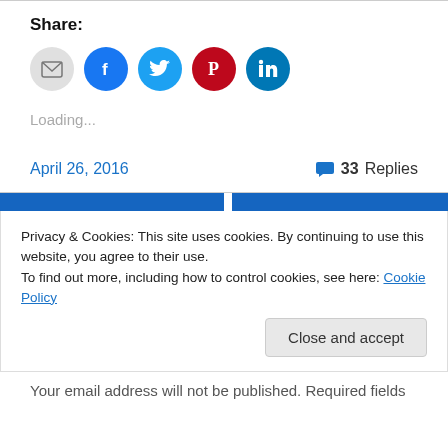Share:
[Figure (infographic): Social share icons: email (grey circle), Facebook (blue circle), Twitter (cyan circle), Pinterest (red circle), LinkedIn (dark blue circle)]
Loading...
April 26, 2016
33 Replies
Privacy & Cookies: This site uses cookies. By continuing to use this website, you agree to their use.
To find out more, including how to control cookies, see here: Cookie Policy
Close and accept
Your email address will not be published. Required fields